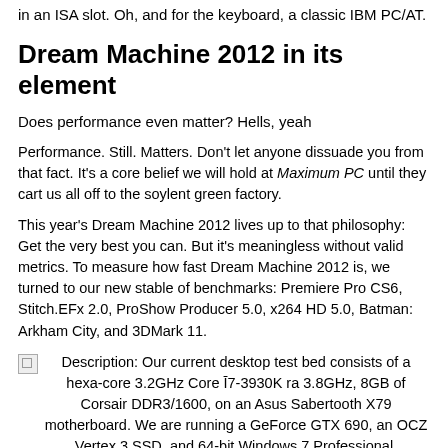in an ISA slot. Oh, and for the keyboard, a classic IBM PC/AT.
Dream Machine 2012 in its element
Does performance even matter? Hells, yeah
Performance. Still. Matters. Don't let anyone dissuade you from that fact. It's a core belief we will hold at Maximum PC until they cart us all off to the soylent green factory.
This year's Dream Machine 2012 lives up to that philosophy: Get the very best you can. But it's meaningless without valid metrics. To measure how fast Dream Machine 2012 is, we turned to our new stable of benchmarks: Premiere Pro CS6, Stitch.EFx 2.0, ProShow Producer 5.0, x264 HD 5.0, Batman: Arkham City, and 3DMark 11.
[Figure (photo): Broken image icon with caption about desktop test bed specs]
Our current desktop test bed consists of a hexa-core 3.2GHz Core I7-3930K ra 3.8GHz, 8GB of Corsair DDR3/1600, on an Asus Sabertooth X79 motherboard. We are running a GeForce GTX 690, an OCZ Vertex 3 SSD, and 64-bit Windows 7 Professional.